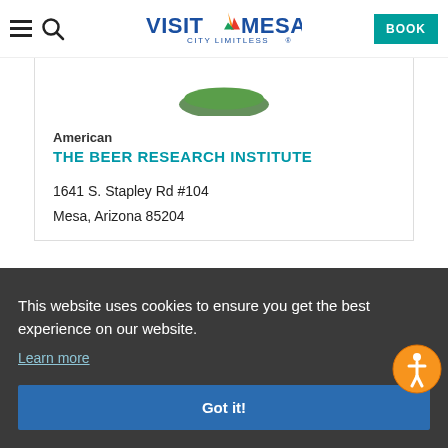Visit Mesa – City Limitless | BOOK
[Figure (logo): Partial image of The Beer Research Institute logo (green oval shape, partially visible)]
American
THE BEER RESEARCH INSTITUTE
1641 S. Stapley Rd #104
Mesa, Arizona 85204
This website uses cookies to ensure you get the best experience on our website.
Learn more
Got it!
[Figure (logo): Partial blue text logo visible at bottom, appears to be a brewery/institution name starting with 'HOMEBR...']